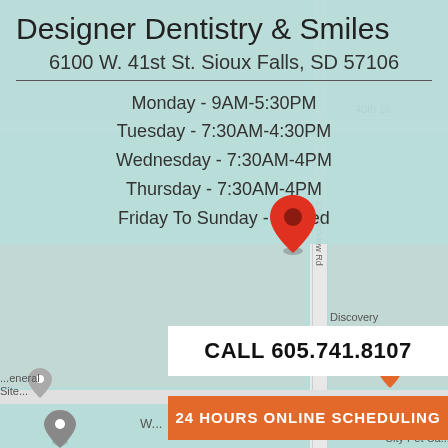Designer Dentistry & Smiles
6100 W. 41st St. Sioux Falls, SD 57106
Monday - 9AM-5:30PM
Tuesday - 7:30AM-4:30PM
Wednesday - 7:30AM-4PM
Thursday - 7:30AM-4PM
Friday To Sunday - Closed
CALL 605.741.8107
24 HOURS ONLINE SCHEDULING